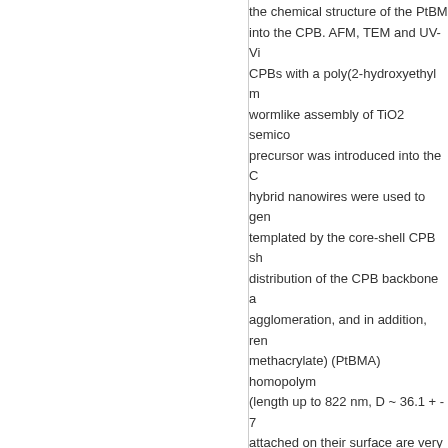the chemical structure of the PtBMA brush was used to introduce precursor into the CPB. AFM, TEM and UV-Vis spectroscopy were used to investigate CPBs with a poly(2-hydroxyethyl methacrylate) (PHEMA) shell, revealed a wormlike assembly of TiO2 semiconductor nanoparticles along the CPB. The precursor was introduced into the CPB followed by controlled hydrolysis. These hybrid nanowires were used to generate TiO2 nanowires. The TiO2 nanowires templated by the core-shell CPB showed a very narrow length and diameter distribution of the CPB backbone and thus effectively suppressed their agglomeration, and in addition, render them dispersible. Poly(tert-butyl methacrylate) (PtBMA) homopolymer brushes with high molecular weights (length up to 822 nm, D ~ 36.1 + - 7 nm) which had nanoparticles (NPs) attached on their surface are very similar in dimensions to typical biological nanorods. The strategy to synthesize Fe3O4-decorated Te nanorods is described. The assembly of Fe3O4 nanoparticles on the surface of the Te semiconductor nanorods. The Fe3O4-decorated Te nanorods can be aligned along a magnetic field when deposited from THF solution. These Fe3O4-decorated Te nanorods can have many potential applications.
Abstract in weiterer Sprache
Durch Kombination von anionischen Polymerisationstechniken mit zylindrischen Polymerbürsten mittels der "grafting from" Methode, wurde die Möglichkeit sowohl im Rückgrat als auch bei den Seitenketten Funktionalitäten einzubauen, verschiedene eindimensionale (1D) Hybridstrukturen herzustellen genutzt. Dank der wohldefinierten Polymerbürstenstruktur als Templatmaterial für die Hybridstruktur, verschiedene Kombinationen